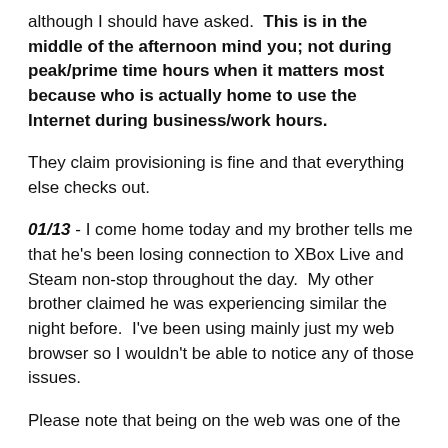although I should have asked.  This is in the middle of the afternoon mind you; not during peak/prime time hours when it matters most because who is actually home to use the Internet during business/work hours.
They claim provisioning is fine and that everything else checks out.
01/13 - I come home today and my brother tells me that he's been losing connection to XBox Live and Steam non-stop throughout the day.  My other brother claimed he was experiencing similar the night before.  I've been using mainly just my web browser so I wouldn't be able to notice any of those issues.
Please note that being on the web was one of the...